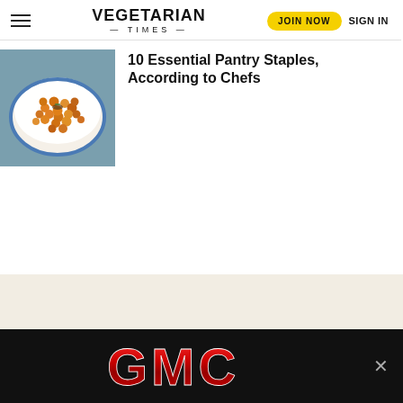VEGETARIAN TIMES — TIMES —
[Figure (photo): Food photo of roasted chickpeas in a white bowl with blue rim on a teal/grey background]
10 Essential Pantry Staples, According to Chefs
[Figure (logo): GMC logo on black advertisement banner with close button]